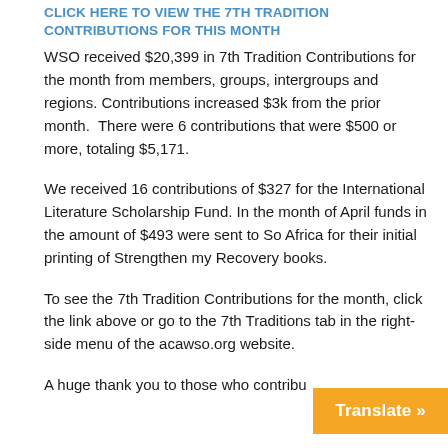CLICK HERE TO VIEW THE 7TH TRADITION CONTRIBUTIONS FOR THIS MONTH
WSO received $20,399 in 7th Tradition Contributions for the month from members, groups, intergroups and regions. Contributions increased $3k from the prior month.  There were 6 contributions that were $500 or more, totaling $5,171.
We received 16 contributions of $327 for the International Literature Scholarship Fund. In the month of April funds in the amount of $493 were sent to So Africa for their initial printing of Strengthen my Recovery books.
To see the 7th Tradition Contributions for the month, click the link above or go to the 7th Traditions tab in the right-side menu of the acawso.org website.
A huge thank you to those who contribu...
[Figure (other): Orange 'Translate »' button overlay in bottom-right corner]